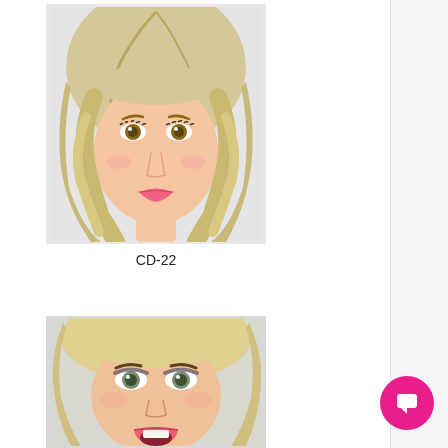[Figure (photo): Product photo of a realistic doll head with blonde wavy hair, fair skin, brown eyes, and pink lips, facing forward against a white background. Labeled CD-22.]
CD-22
[Figure (photo): Product photo of a realistic doll head with blonde wavy hair, open mouth expression, blue-grey eyes and heavy makeup, partially cropped at bottom of page.]